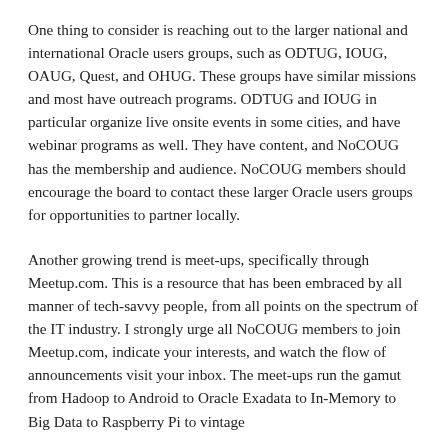One thing to consider is reaching out to the larger national and international Oracle users groups, such as ODTUG, IOUG, OAUG, Quest, and OHUG. These groups have similar missions and most have outreach programs. ODTUG and IOUG in particular organize live onsite events in some cities, and have webinar programs as well. They have content, and NoCOUG has the membership and audience. NoCOUG members should encourage the board to contact these larger Oracle users groups for opportunities to partner locally.
Another growing trend is meet-ups, specifically through Meetup.com. This is a resource that has been embraced by all manner of tech-savvy people, from all points on the spectrum of the IT industry. I strongly urge all NoCOUG members to join Meetup.com, indicate your interests, and watch the flow of announcements visit your inbox. The meet-ups run the gamut from Hadoop to Android to Oracle Exadata to In-Memory to Big Data to Raspberry Pi to vintage